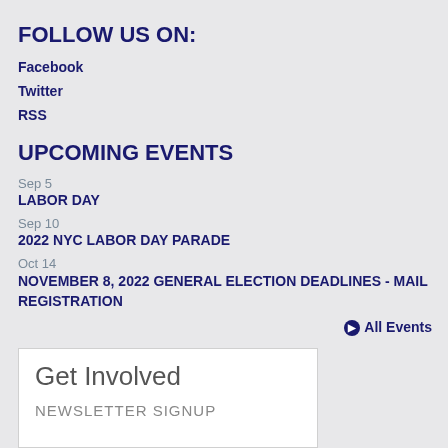FOLLOW US ON:
Facebook
Twitter
RSS
UPCOMING EVENTS
Sep 5
LABOR DAY
Sep 10
2022 NYC LABOR DAY PARADE
Oct 14
NOVEMBER 8, 2022 GENERAL ELECTION DEADLINES - MAIL REGISTRATION
All Events
Get Involved
NEWSLETTER SIGNUP